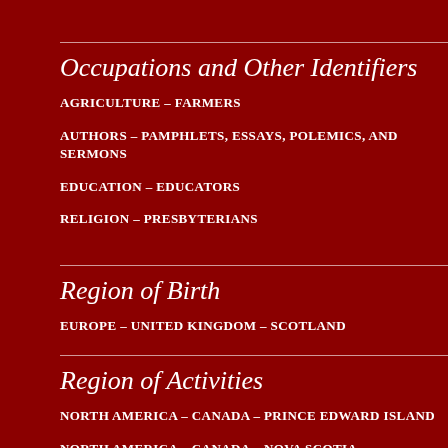Occupations and Other Identifiers
AGRICULTURE – FARMERS
AUTHORS – PAMPHLETS, ESSAYS, POLEMICS, AND SERMONS
EDUCATION – EDUCATORS
RELIGION – PRESBYTERIANS
Region of Birth
EUROPE – UNITED KINGDOM – SCOTLAND
Region of Activities
NORTH AMERICA – CANADA – PRINCE EDWARD ISLAND
NORTH AMERICA – CANADA – NOVA SCOTIA – MAINLAND